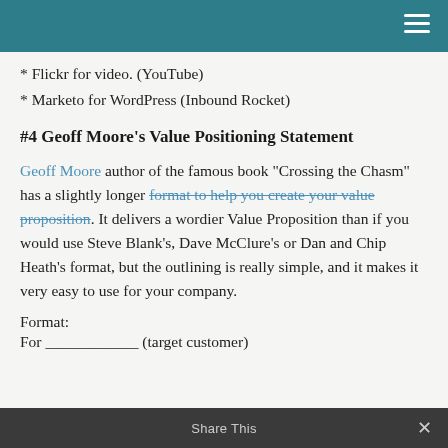* Flickr for video. (YouTube)
* Marketo for WordPress (Inbound Rocket)
#4 Geoff Moore's Value Positioning Statement
Geoff Moore author of the famous book “Crossing the Chasm” has a slightly longer format to help you create your value proposition. It delivers a wordier Value Proposition than if you would use Steve Blank’s, Dave McClure’s or Dan and Chip Heath’s format, but the outlining is really simple, and it makes it very easy to use for your company.
Format:
For ____________ (target customer)
Share This